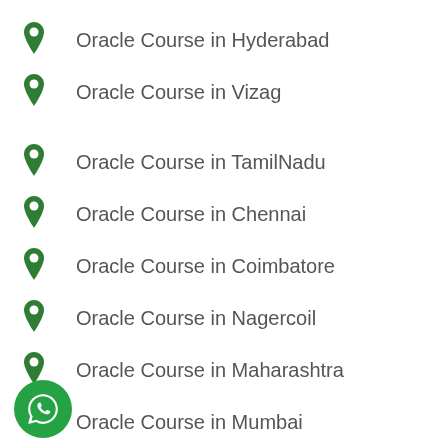Oracle Course in Hyderabad
Oracle Course in Vizag
Oracle Course in TamilNadu
Oracle Course in Chennai
Oracle Course in Coimbatore
Oracle Course in Nagercoil
Oracle Course in Maharashtra
Oracle Course in Mumbai
Oracle Course in Thane